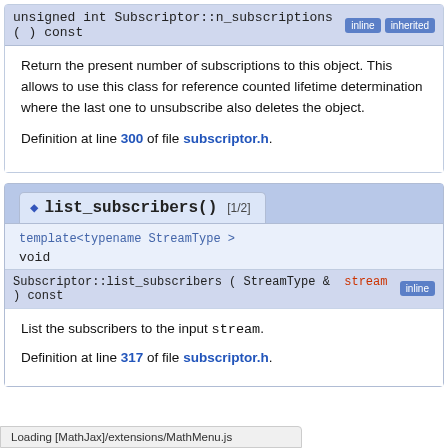unsigned int Subscriptor::n_subscriptions ( ) const [inline] [inherited]
Return the present number of subscriptions to this object. This allows to use this class for reference counted lifetime determination where the last one to unsubscribe also deletes the object.
Definition at line 300 of file subscriptor.h.
◆ list_subscribers() [1/2]
template<typename StreamType >
void
Subscriptor::list_subscribers ( StreamType & stream ) const [inline]
List the subscribers to the input stream.
Definition at line 317 of file subscriptor.h.
Loading [MathJax]/extensions/MathMenu.js